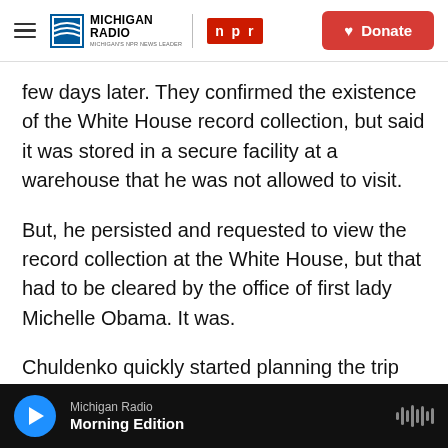Michigan Radio | NPR | Donate
few days later. They confirmed the existence of the White House record collection, but said it was stored in a secure facility at a warehouse that he was not allowed to visit.
But, he persisted and requested to view the record collection at the White House, but that had to be cleared by the office of first lady Michelle Obama. It was.
Chuldenko quickly started planning the trip and reached out to some of the people who curated the collection, like jazz critic Bob Blumenthal and
Michigan Radio — Morning Edition